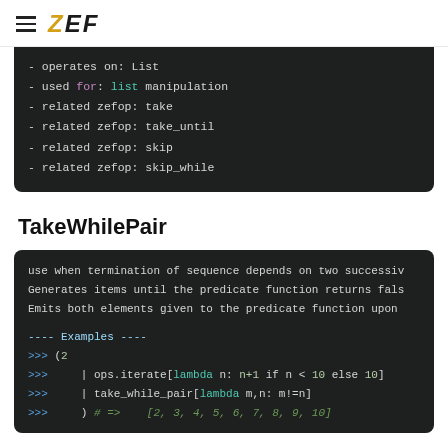ZEF
- operates on: List
- used for: list manipulation
- related zefop: take
- related zefop: take_until
- related zefop: skip
- related zefop: skip_while
TakeWhilePair
use when termination of sequence depends on two successive
Generates items until the predicate function returns fals
Emits both elements given to the predicate function upon

---- Examples ----
>>> (2
>>>     | ops.iterate[lambda n: n+1 if n < 10 else 10]
>>>     | take_while_pair[lambda m,n: m!=n]
>>>     ) # =>    [2, 3, 4, 5, 6, 7, 8, 9, 10]